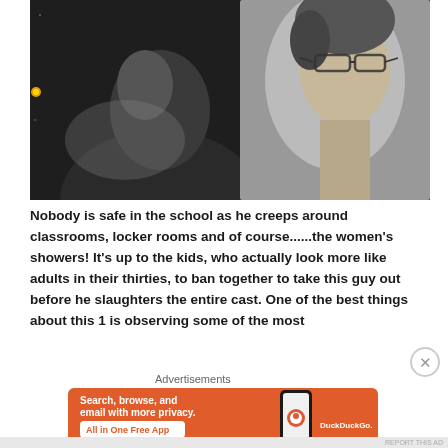[Figure (photo): Blurry dark image showing two people: one dark-haired figure on the left, and another figure wearing glasses on the right against a lighter background]
Nobody is safe in the school as he creeps around classrooms, locker rooms and of course......the women's showers! It's up to the kids, who actually look more like adults in their thirties, to ban together to take this guy out before he slaughters the entire cast. One of the best things about this 1 is observing some of the most
Advertisements
[Figure (screenshot): DuckDuckGo advertisement on orange background: 'Search, browse, and email with more privacy. All in One Free App' with phone mockup and DuckDuckGo logo]